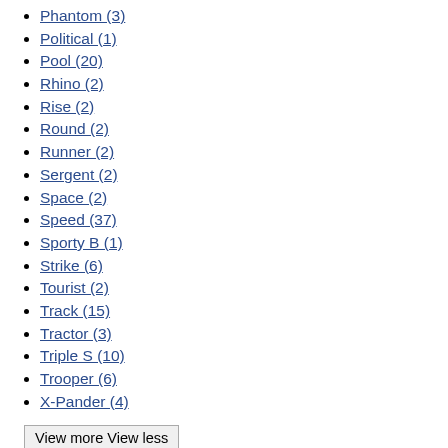Phantom (3)
Political (1)
Pool (20)
Rhino (2)
Rise (2)
Round (2)
Runner (2)
Sergent (2)
Space (2)
Speed (37)
Sporty B (1)
Strike (6)
Tourist (2)
Track (15)
Tractor (3)
Triple S (10)
Trooper (6)
X-Pander (4)
View more View less
Hardware
Gold (1)